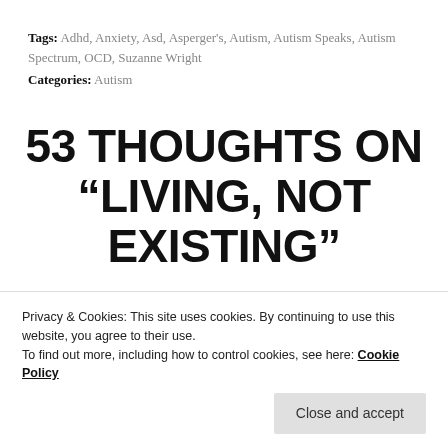Tags: Adhd, Anxiety, Asd, Asperger's, Autism, Autism Speaks, Autism Spectrum, OCD, Suzanne Wright
Categories: Autism
53 THOUGHTS ON “LIVING, NOT EXISTING”
LISA SEMPLE BRYAN
Privacy & Cookies: This site uses cookies. By continuing to use this website, you agree to their use.
To find out more, including how to control cookies, see here: Cookie Policy
Close and accept